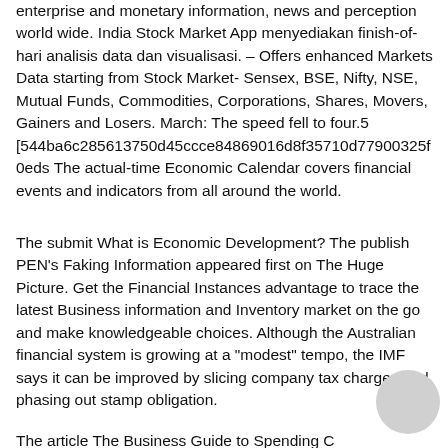enterprise and monetary information, news and perception world wide. India Stock Market App menyediakan finish-of-hari analisis data dan visualisasi. – Offers enhanced Markets Data starting from Stock Market- Sensex, BSE, Nifty, NSE, Mutual Funds, Commodities, Corporations, Shares, Movers, Gainers and Losers. March: The speed fell to four.5 [544ba6c285613750d45ccce84869016d8f35710d77900325f0eds The actual-time Economic Calendar covers financial events and indicators from all around the world.
The submit What is Economic Development? The publish PEN's Faking Information appeared first on The Huge Picture. Get the Financial Instances advantage to trace the latest Business information and Inventory market on the go and make knowledgeable choices. Although the Australian financial system is growing at a "modest" tempo, the IMF says it can be improved by slicing company tax charges and phasing out stamp obligation.
The article The Business Guide to Spending C...